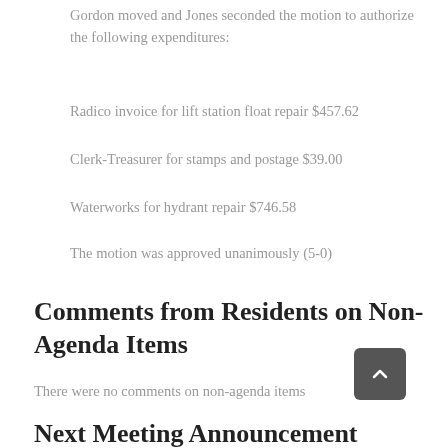Gordon moved and Jones seconded the motion to authorize the following expenditures:
Radico invoice for lift station float repair $457.62
Clerk-Treasurer for stamps and postage $39.00
Waterworks for hydrant repair $746.58
The motion was approved unanimously (5-0)
Comments from Residents on Non-Agenda Items
There were no comments on non-agenda items
Next Meeting Announcement